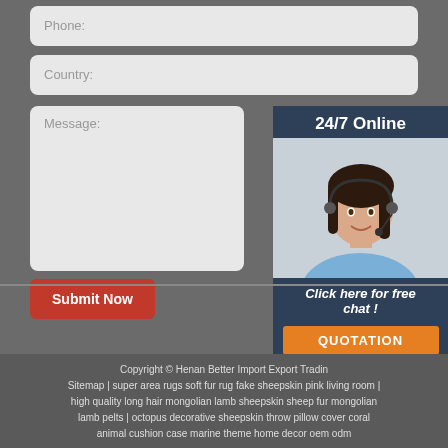Phone:
Country:
Message:
24/7 Online
[Figure (photo): Customer service representative woman with headset, smiling]
Click here for free chat !
QUOTATION
Submit Now
Copyright © Henan Better Import Export Trading | Sitemap | super area rugs soft fur rug fake sheepskin pink living room | high quality long hair mongolian lamb sheepskin sheep fur mongolian lamb pelts | octopus decorative sheepskin throw pillow cover coral animal cushion case marine theme home decor oem odm